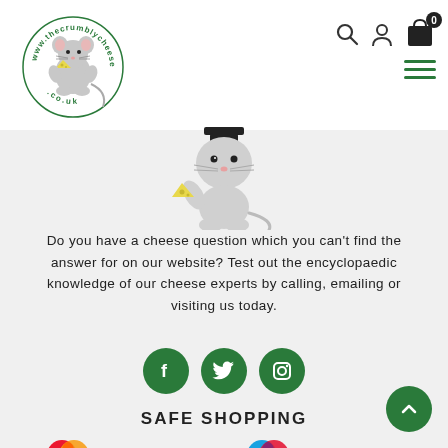[Figure (logo): The Crumbly Cheese website logo — a circular design with a cartoon mouse holding cheese, text reading www.thecrumblycheese.co.uk]
[Figure (illustration): Navigation bar icons: search (magnifying glass), user account (person icon), shopping bag with 0 badge, hamburger menu (three green lines)]
[Figure (illustration): Cartoon mouse character holding a piece of yellow cheese, grey mouse illustration, partial view (head and body only)]
Do you have a cheese question which you can't find the answer for on our website? Test out the encyclopaedic knowledge of our cheese experts by calling, emailing or visiting us today.
[Figure (illustration): Three green circular social media icons: Facebook (f), Twitter (bird), Instagram (camera)]
SAFE SHOPPING
[Figure (illustration): Payment method logos: Mastercard (two overlapping red/orange circles), VISA (blue text), Maestro (two overlapping blue/red circles), PayPal (blue text)]
[Figure (illustration): Scroll-to-top button: dark green circle with white up-arrow chevron, bottom right corner]